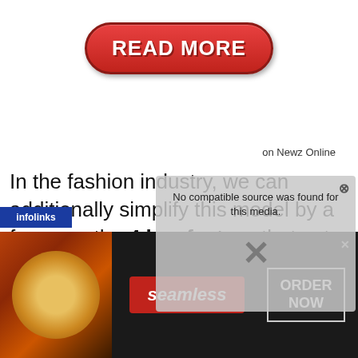[Figure (other): Red rounded-rectangle button with white bold text reading READ MORE, with dark red border and shadow]
on Newz Online
In the fashion industry, we can additionally simplify this model by a focus on the 4 key factors that set firms apart: its value
[Figure (screenshot): Gray semi-transparent overlay popup with close X button and text: No compatible source was found for this media, with large X watermark]
[Figure (screenshot): Seamless food delivery advertisement banner with pizza image, seamless brand logo, and ORDER NOW button]